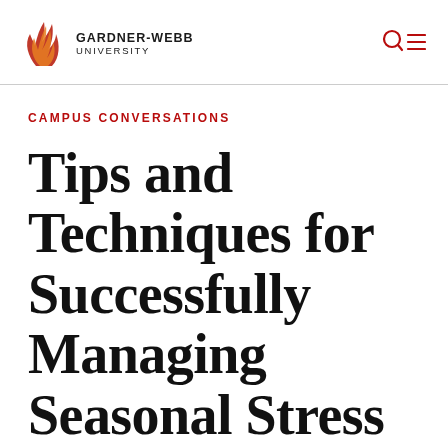GARDNER-WEBB UNIVERSITY
CAMPUS CONVERSATIONS
Tips and Techniques for Successfully Managing Seasonal Stress